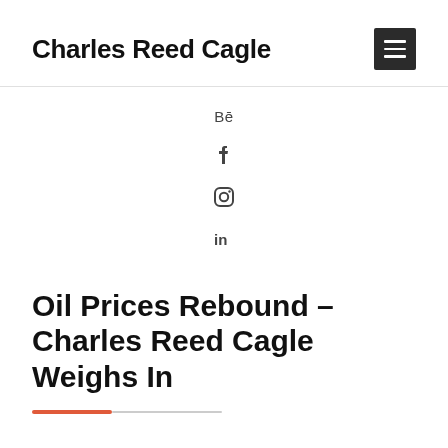Charles Reed Cagle
[Figure (other): Social media icons: Behance (Bē), Facebook (f), Instagram, LinkedIn (in)]
Oil Prices Rebound – Charles Reed Cagle Weighs In